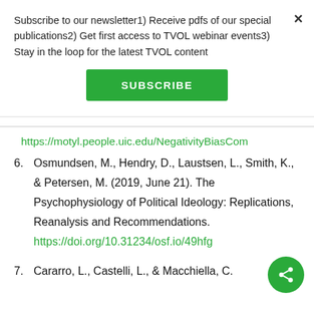Subscribe to our newsletter1) Receive pdfs of our special publications2) Get first access to TVOL webinar events3) Stay in the loop for the latest TVOL content
SUBSCRIBE
https://motyl.people.uic.edu/NegativityBiasCom
6. Osmundsen, M., Hendry, D., Laustsen, L., Smith, K., & Petersen, M. (2019, June 21). The Psychophysiology of Political Ideology: Replications, Reanalysis and Recommendations. https://doi.org/10.31234/osf.io/49hfg
7. Cararro, L., Castelli, L., & Macchiella, C.